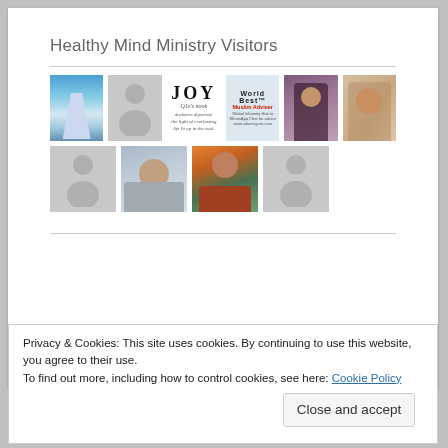Healthy Mind Ministry Visitors
[Figure (photo): Grid of visitor profile thumbnails: Alice in Wonderland character, gray silhouette, JOY blog logo, World Best Muslim Adviser banner, woman with braids, smiling woman. Second row: gray silhouette, woman with sunglasses outdoors, man outdoors at sunset, gray silhouette.]
Privacy & Cookies: This site uses cookies. By continuing to use this website, you agree to their use.
To find out more, including how to control cookies, see here: Cookie Policy
Close and accept